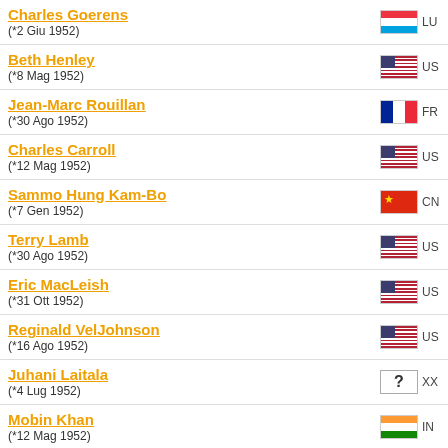Charles Goerens (*2 Giu 1952) LU
Beth Henley (*8 Mag 1952) US
Jean-Marc Rouillan (*30 Ago 1952) FR
Charles Carroll (*12 Mag 1952) US
Sammo Hung Kam-Bo (*7 Gen 1952) CN
Terry Lamb (*30 Ago 1952) US
Eric MacLeish (*31 Ott 1952) US
Reginald VelJohnson (*16 Ago 1952) US
Juhani Laitala (*4 Lug 1952) XX
Mobin Khan (*12 Mag 1952) IN